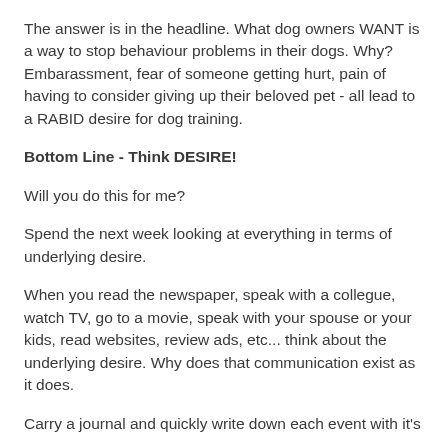The answer is in the headline. What dog owners WANT is a way to stop behaviour problems in their dogs. Why? Embarassment, fear of someone getting hurt, pain of having to consider giving up their beloved pet - all lead to a RABID desire for dog training.
Bottom Line - Think DESIRE!
Will you do this for me?
Spend the next week looking at everything in terms of underlying desire.
When you read the newspaper, speak with a collegue, watch TV, go to a movie, speak with your spouse or your kids, read websites, review ads, etc... think about the underlying desire. Why does that communication exist as it does.
Carry a journal and quickly write down each event with it's